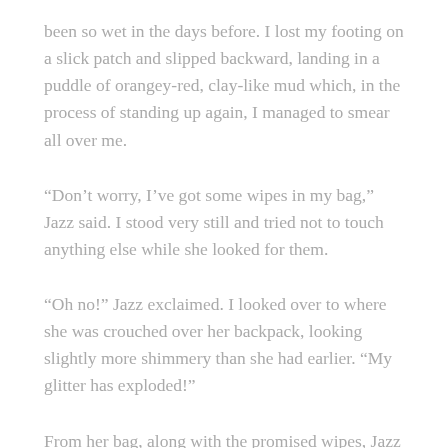been so wet in the days before. I lost my footing on a slick patch and slipped backward, landing in a puddle of orangey-red, clay-like mud which, in the process of standing up again, I managed to smear all over me.
“Don’t worry, I’ve got some wipes in my bag,” Jazz said. I stood very still and tried not to touch anything else while she looked for them.
“Oh no!” Jazz exclaimed. I looked over to where she was crouched over her backpack, looking slightly more shimmery than she had earlier. “My glitter has exploded!”
From her bag, along with the promised wipes, Jazz pulled an empty pot of pink glitter, the contents of which was now all over Jazz’s hands, legs, shorts, hat, sandwiches… well